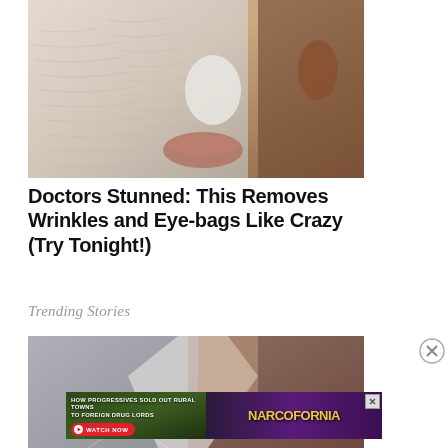[Figure (photo): Close-up photo of a person's face with a white clay or peel-off mask applied, showing textured skin with wrinkles and facial features including nose and lips.]
Doctors Stunned: This Removes Wrinkles and Eye-bags Like Crazy (Try Tonight!)
Trending Stories
[Figure (photo): Partial image of a person, lower part of a webpage article thumbnail.]
[Figure (screenshot): Advertisement banner for Narcofornia: 'HOW PROGRESSIVES SOLD OUT RURAL TOWNS TO FOREIGN DRUG LORDS' with a WATCH NOW button and Narcofornia logo/branding.]